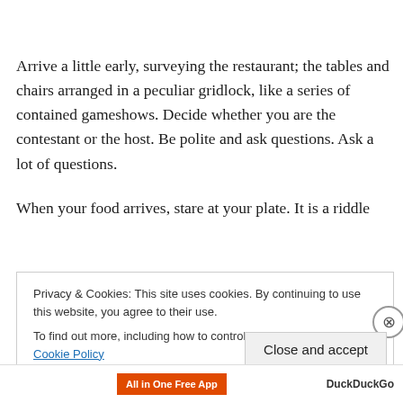Arrive a little early, surveying the restaurant; the tables and chairs arranged in a peculiar gridlock, like a series of contained gameshows. Decide whether you are the contestant or the host. Be polite and ask questions. Ask a lot of questions.

When your food arrives, stare at your plate. It is a riddle
Privacy & Cookies: This site uses cookies. By continuing to use this website, you agree to their use.
To find out more, including how to control cookies, see here: Cookie Policy
Close and accept